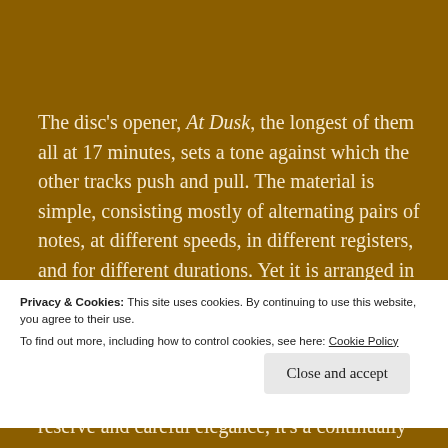The disc's opener, At Dusk, the longest of them all at 17 minutes, sets a tone against which the other tracks push and pull. The material is simple, consisting mostly of alternating pairs of notes, at different speeds, in different registers, and for different durations. Yet it is arranged in what to the ear could easily be a complex system of interlocking loops, or completely improvised – such is its mix of poise and
Privacy & Cookies: This site uses cookies. By continuing to use this website, you agree to their use.
To find out more, including how to control cookies, see here: Cookie Policy
reserve and careful elegance, it's a continually